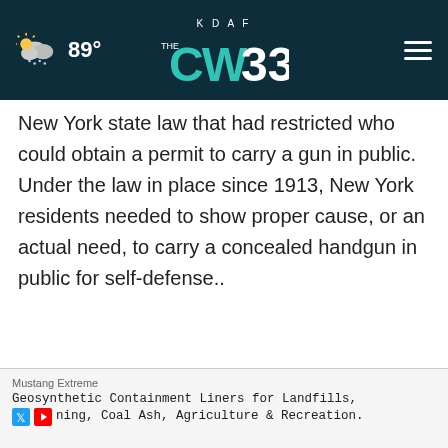89° KDAF CW33
New York state law that had restricted who could obtain a permit to carry a gun in public. Under the law in place since 1913, New York residents needed to show proper cause, or an actual need, to carry a concealed handgun in public for self-defense..
CONTINUE READING
The justices d… the Second
[Figure (photo): Security camera mounted on ceiling, dome style with LED ring]
Mustang Extreme
Geosynthetic Containment Liners for Landfills, Mining, Coal Ash, Agriculture & Recreation.